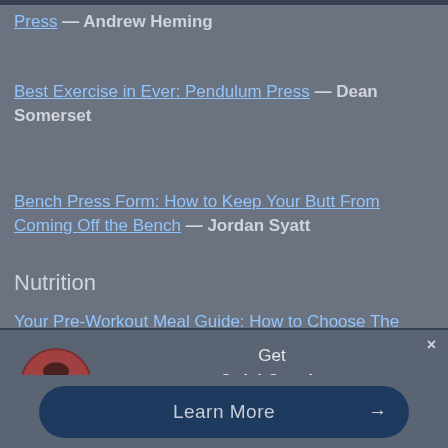Press — Andrew Heming
Best Exercise in Ever: Pendulum Press — Dean Somerset
Bench Press Form: How to Keep Your Butt From Coming Off the Bench — Jordan Syatt
Nutrition
Your Pre-Workout Meal Guide: How to Choose The
Get QuickCoach: 100% Free coaching software.
Learn More →